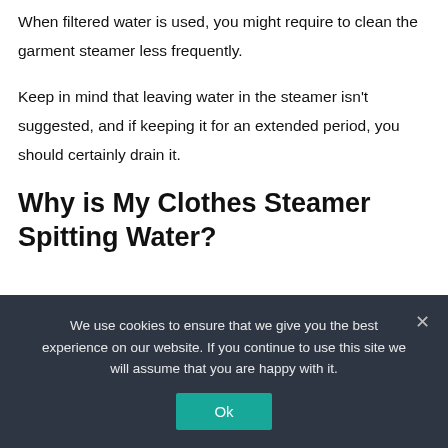When filtered water is used, you might require to clean the garment steamer less frequently.
Keep in mind that leaving water in the steamer isn't suggested, and if keeping it for an extended period, you should certainly drain it.
Why is My Clothes Steamer Spitting Water?
We use cookies to ensure that we give you the best experience on our website. If you continue to use this site we will assume that you are happy with it.